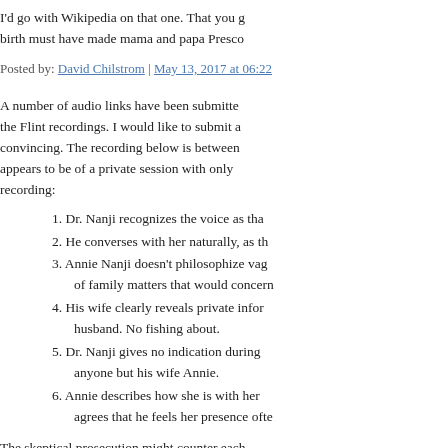I'd go with Wikipedia on that one. That you g... birth must have made mama and papa Presco...
Posted by: David Chilstrom | May 13, 2017 at 06:22 ...
A number of audio links have been submitted... the Flint recordings. I would like to submit a... convincing. The recording below is between... appears to be of a private session with only ... recording:
1. Dr. Nanji recognizes the voice as tha...
2. He converses with her naturally, as th...
3. Annie Nanji doesn't philosophize vag... of family matters that would concern...
4. His wife clearly reveals private infor... husband. No fishing about.
5. Dr. Nanji gives no indication during ... anyone but his wife Annie.
6. Annie describes how she is with her ... agrees that he feels her presence ofte...
The skeptical prosecution might counter each...